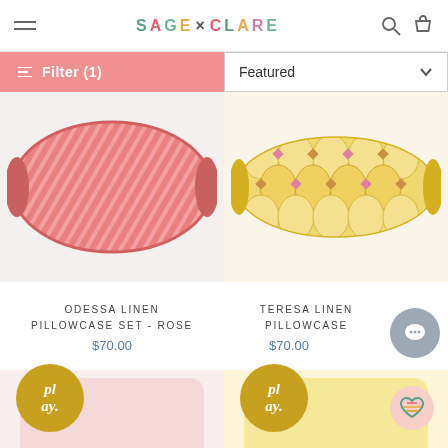SAGE x CLARE
Filter (1)
Featured
[Figure (photo): Salmon/rose colored striped diagonal pillow (Odessa Linen Pillowcase Set - Rose)]
[Figure (photo): Yellow geometric patterned pillow (Teresa Linen Pillowcase)]
ODESSA LINEN PILLOWCASE SET - ROSE
$70.00
TERESA LINEN PILLOWCASE
$70.00
[Figure (photo): Play badge (gold circle with 'play.' text) and partially visible pink pillow]
[Figure (photo): Play badge (gold circle with 'play.' text) and partially visible yellow pillow, plus heart badge]